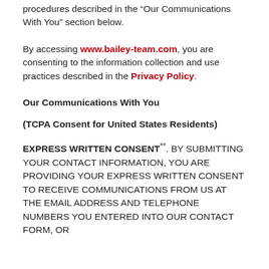procedures described in the "Our Communications With You" section below.
By accessing www.bailey-team.com, you are consenting to the information collection and use practices described in the Privacy Policy.
Our Communications With You
(TCPA Consent for United States Residents)
EXPRESS WRITTEN CONSENT**. BY SUBMITTING YOUR CONTACT INFORMATION, YOU ARE PROVIDING YOUR EXPRESS WRITTEN CONSENT TO RECEIVE COMMUNICATIONS FROM US AT THE EMAIL ADDRESS AND TELEPHONE NUMBERS YOU ENTERED INTO OUR CONTACT FORM, OR